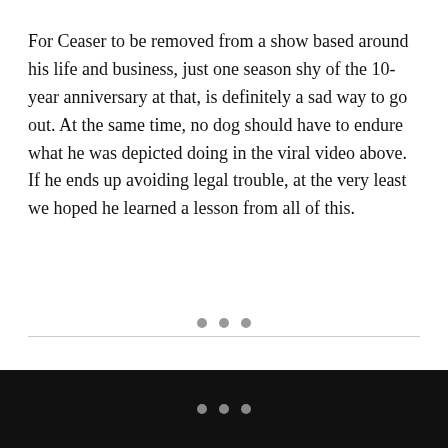For Ceaser to be removed from a show based around his life and business, just one season shy of the 10-year anniversary at that, is definitely a sad way to go out. At the same time, no dog should have to endure what he was depicted doing in the viral video above. If he ends up avoiding legal trouble, at the very least we hoped he learned a lesson from all of this.
• • •